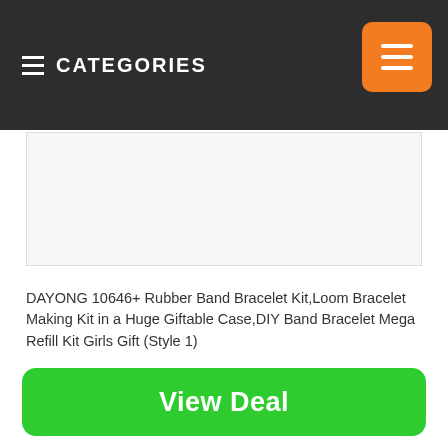CATEGORIES
[Figure (photo): Product image area (white/light gray background, no visible product image)]
DAYONG 10646+ Rubber Band Bracelet Kit,Loom Bracelet Making Kit in a Huge Giftable Case,DIY Band Bracelet Mega Refill Kit Girls Gift (Style 1)
View Deal